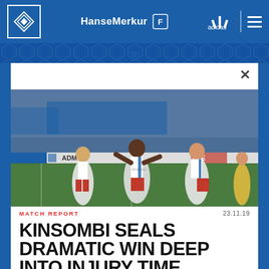HSV HanseMerkur adidas navigation bar
[Figure (photo): HSV football players celebrating a goal on the pitch, wearing white shirts with blue stripe and red shorts, crowd in background with blue banners, advertising boards visible including ADM and BE]
MATCH REPORT
23.11.19
KINSOMBI SEALS DRAMATIC WIN DEEP INTO INJURY TIME